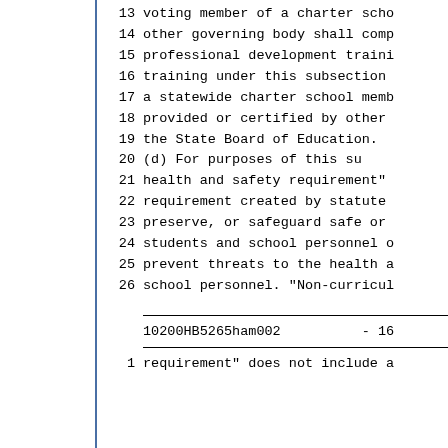13   voting member of a charter scho
14   other governing body shall comp
15   professional development traini
16   training under this subsection
17   a statewide charter school memb
18   provided or certified by other
19   the State Board of Education.
20       (d) For purposes of this su
21   health and safety requirement"
22   requirement created by statute
23   preserve, or safeguard safe or
24   students and school personnel o
25   prevent threats to the health a
26   school personnel. "Non-curricul
10200HB5265ham002          - 16
1   requirement" does not include a